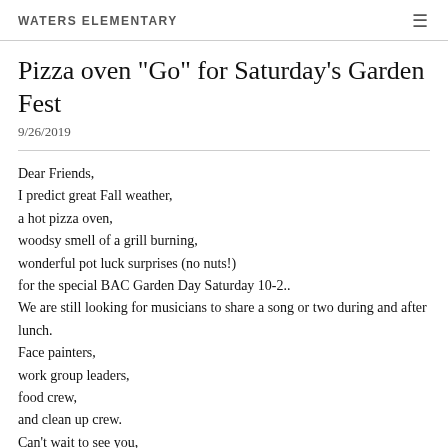WATERS ELEMENTARY
Pizza oven "Go" for Saturday's Garden Fest
9/26/2019
Dear Friends,
I predict great Fall weather,
a hot pizza oven,
woodsy smell of a grill burning,
wonderful pot luck surprises (no nuts!)
for the special BAC Garden Day Saturday 10-2..
We are still looking for musicians to share a song or two during and after lunch.
Face painters,
work group leaders,
food crew,
and clean up crew.
Can't wait to see you,
Mr. Leki